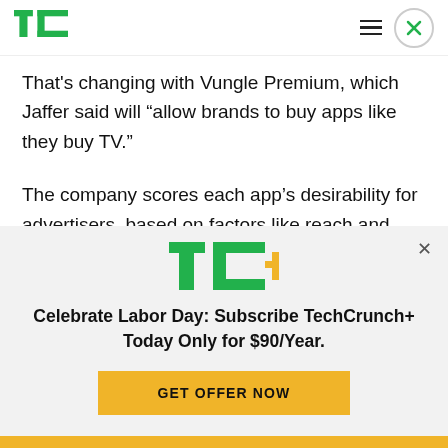TechCrunch header with logo, hamburger menu, and close button
That's changing with Vungle Premium, which Jaffer said will “allow brands to buy apps like they buy TV.”
The company scores each app's desirability for advertisers, based on factors like reach and
[Figure (logo): TC+ logo — green TC letters with yellow plus sign]
Celebrate Labor Day: Subscribe TechCrunch+ Today Only for $90/Year.
GET OFFER NOW